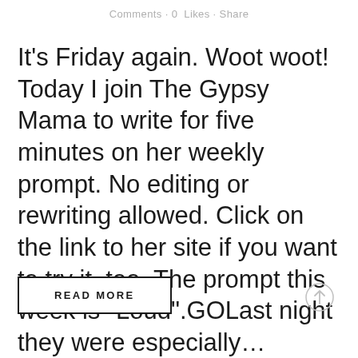Comments · 0  Likes · Share
It's Friday again. Woot woot! Today I join The Gypsy Mama to write for five minutes on her weekly prompt. No editing or rewriting allowed. Click on the link to her site if you want to try it, too. The prompt this week is "Loud".GOLast night they were especially…
READ MORE